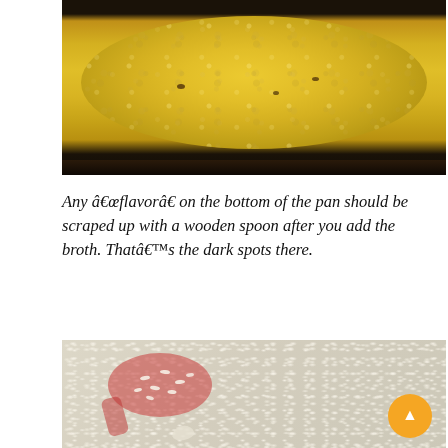[Figure (photo): Close-up photo of a yellow/golden liquid (broth or batter) bubbling in a dark cast iron pan, viewed from above showing the rim of the pan at the bottom.]
Any â€œflavorâ€ on the bottom of the pan should be scraped up with a wooden spoon after you add the broth. Thatâ€™s the dark spots there.
[Figure (photo): Close-up photo of a red/translucent spoon or spatula resting on a pile of uncooked white rice grains on a light-colored surface.]